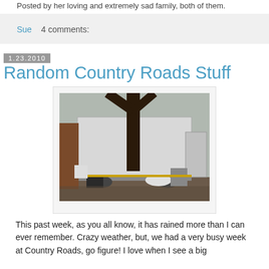Posted by her loving and extremely sad family, both of them.
Sue    4 comments:
1.23.2010
Random Country Roads Stuff
[Figure (photo): A large white box truck parked next to a dark tree trunk, viewed from the side. Various items and a basket visible near the truck's underside. Overcast/wet weather conditions.]
This past week, as you all know, it has rained more than I can ever remember. Crazy weather, but, we had a very busy week at Country Roads, go figure! I love when I see a big